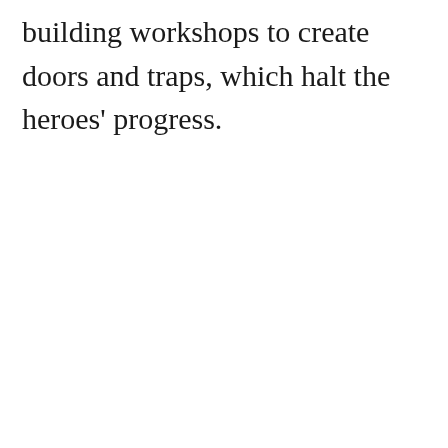building workshops to create doors and traps, which halt the heroes' progress.